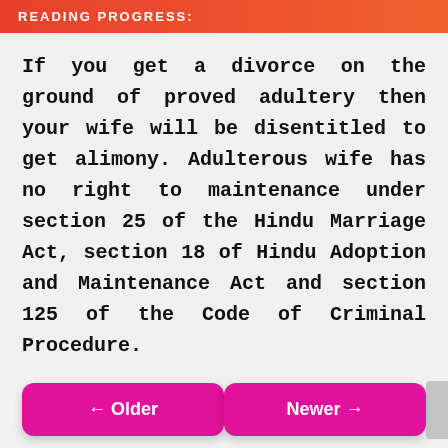READING PROGRESS:
If you get a divorce on the ground of proved adultery then your wife will be disentitled to get alimony. Adulterous wife has no right to maintenance under section 25 of the Hindu Marriage Act, section 18 of Hindu Adoption and Maintenance Act and section 125 of the Code of Criminal Procedure.
← Older
Newer →
ASK QUESTION